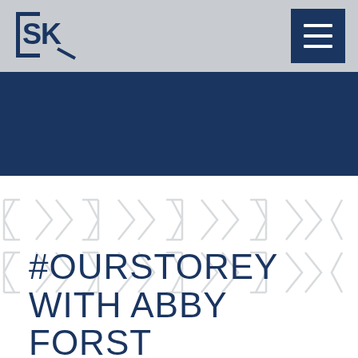[Figure (logo): SK law firm logo — letters S and K inside a bracket shape, navy blue on grey background]
[Figure (other): Navy blue hamburger menu button with three white horizontal lines]
[Figure (other): Dark navy blue horizontal band below header]
[Figure (other): White section with faint geometric SK watermark pattern]
#OURSTOREY WITH ABBY FORST